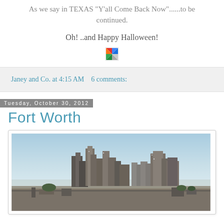As we say in TEXAS "Y'all Come Back Now"......to be continued.
Oh! ..and Happy Halloween!
[Figure (logo): Small colorful pinwheel/windmill icon]
Janey and Co. at 4:15 AM   6 comments:
Tuesday, October 30, 2012
Fort Worth
[Figure (photo): Skyline/cityscape of Fort Worth, Texas, showing downtown buildings against a clear blue sky with foreground industrial/highway area]